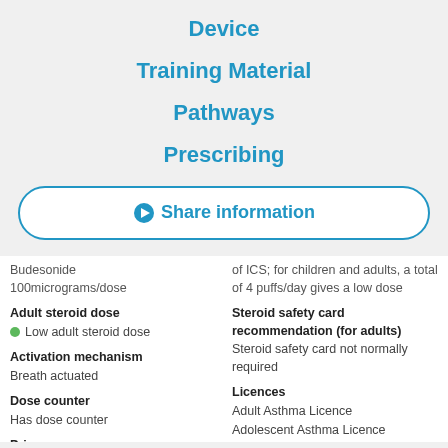Device
Training Material
Pathways
Prescribing
➡ Share information
Budesonide 100micrograms/dose
Adult steroid dose
● Low adult steroid dose
Activation mechanism
Breath actuated
Dose counter
Has dose counter
Price
£8.55 / 30 days
(based on 4 puffs / day)
of ICS; for children and adults, a total of 4 puffs/day gives a low dose
Steroid safety card recommendation (for adults)
Steroid safety card not normally required
Licences
Adult Asthma Licence
Adolescent Asthma Licence
(age range not available)